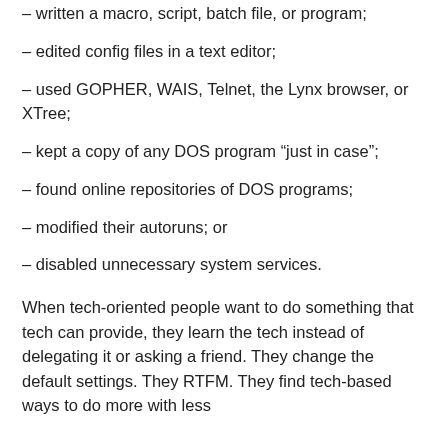– written a macro, script, batch file, or program;
– edited config files in a text editor;
– used GOPHER, WAIS, Telnet, the Lynx browser, or XTree;
– kept a copy of any DOS program “just in case”;
– found online repositories of DOS programs;
– modified their autoruns; or
– disabled unnecessary system services.
When tech-oriented people want to do something that tech can provide, they learn the tech instead of delegating it or asking a friend. They change the default settings. They RTFM. They find tech-based ways to do more with less